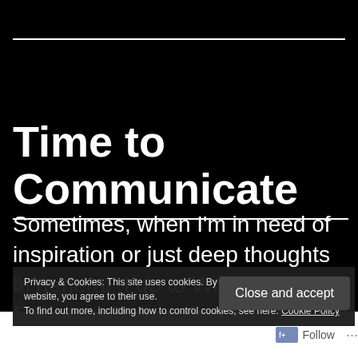Time to Communicate
Sometimes, when I'm in need of inspiration or just deep thoughts in general, I go to Writing Excuses. Today I focused on their world-b...
Privacy & Cookies: This site uses cookies. By continuing to use this website, you agree to their use.
To find out more, including how to control cookies, see here: Cookie Policy
Close and accept